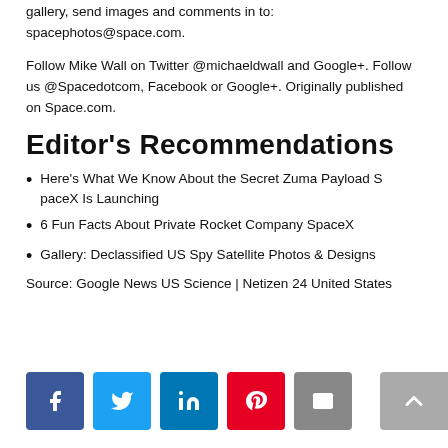gallery, send images and comments in to: spacephotos@space.com.
Follow Mike Wall on Twitter @michaeldwall and Google+. Follow us @Spacedotcom, Facebook or Google+. Originally published on Space.com.
Editor's Recommendations
Here's What We Know About the Secret Zuma Payload SpaceX Is Launching
6 Fun Facts About Private Rocket Company SpaceX
Gallery: Declassified US Spy Satellite Photos & Designs
Source: Google News US Science | Netizen 24 United States
[Figure (other): Social sharing buttons: Facebook, Twitter, LinkedIn, Pinterest, Email, and a scroll-to-top button]